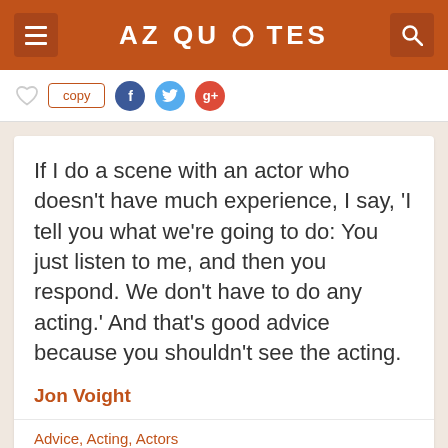AZ QUOTES
If I do a scene with an actor who doesn't have much experience, I say, 'I tell you what we're going to do: You just listen to me, and then you respond. We don't have to do any acting.' And that's good advice because you shouldn't see the acting.
Jon Voight
Advice, Acting, Actors